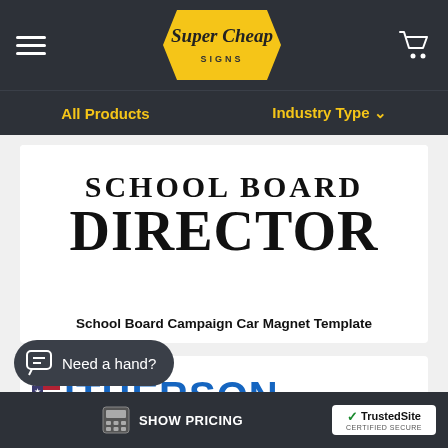Super Cheap Signs — All Products | Industry Type
[Figure (screenshot): Product card showing a school board campaign car magnet template with bold text 'SCHOOL BOARD DIRECTOR']
School Board Campaign Car Magnet Template
[Figure (screenshot): Partial product card showing a campaign sign with blue text 'ITHERSON' and an American flag graphic]
Need a hand?
SHOW PRICING | TrustedSite CERTIFIED SECURE